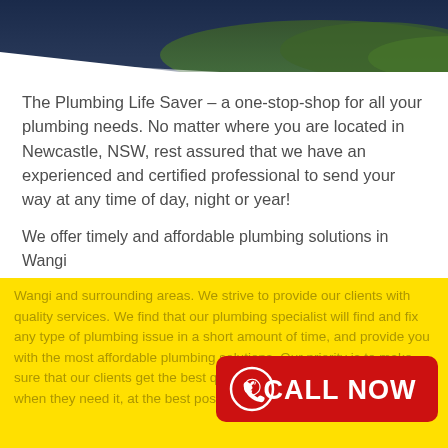[Figure (photo): Decorative header image showing dark navy blue and green foliage/landscape at the top of the page]
The Plumbing Life Saver – a one-stop-shop for all your plumbing needs. No matter where you are located in Newcastle, NSW, rest assured that we have an experienced and certified professional to send your way at any time of day, night or year!
We offer timely and affordable plumbing solutions in Wangi Wangi and surrounding areas. We strive to provide our clients with quality services. We find that our plumbing specialist will find and fix any type of plumbing issue in a short amount of time, and provide you with the most affordable plumbing solutions. Our priority is to make sure that our clients get the best quality service, where they need it, when they need it, at the best possible price.
[Figure (other): Red CALL NOW button with phone icon on yellow background]